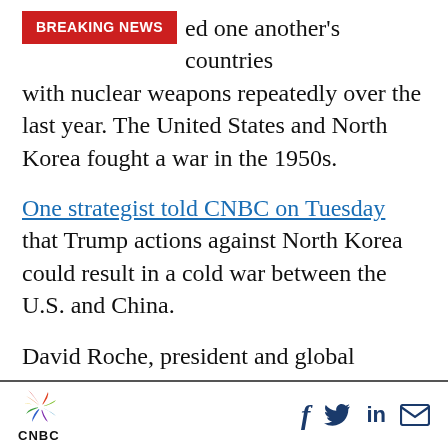...ed one another's countries with nuclear weapons repeatedly over the last year. The United States and North Korea fought a war in the 1950s.
One strategist told CNBC on Tuesday that Trump actions against North Korea could result in a cold war between the U.S. and China.
David Roche, president and global strategist at Independent Strategy, said such a turn of events between two economic and military powerhouses would have global implications for worldwide trade and investment.
CNBC logo with social media icons: Facebook, Twitter, LinkedIn, Email